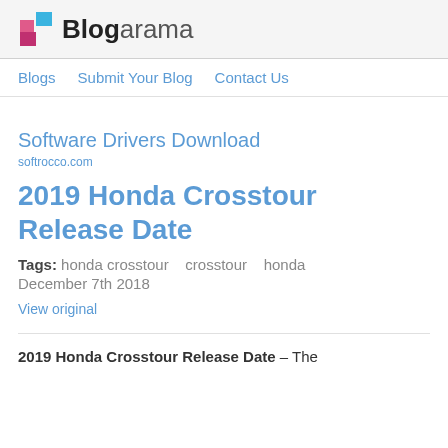Blogarama
Blogs   Submit Your Blog   Contact Us
Software Drivers Download
softrocco.com
2019 Honda Crosstour Release Date
Tags: honda crosstour   crosstour   honda
December 7th 2018
View original
2019 Honda Crosstour Release Date – The